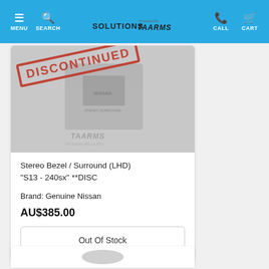MENU | SEARCH | EFI SOLUTIONS powered by TAARMS | CALL | CART
[Figure (photo): Product photo of Stereo Bezel / Surround with a red DISCONTINUED stamp overlaid diagonally, and a TAARMS branding watermark at the bottom]
Stereo Bezel / Surround (LHD) "S13 - 240sx" **DISC
Brand: Genuine Nissan
AU$385.00
Out Of Stock